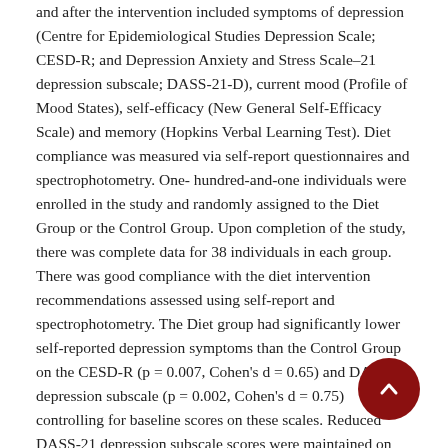and after the intervention included symptoms of depression (Centre for Epidemiological Studies Depression Scale; CESD-R; and Depression Anxiety and Stress Scale–21 depression subscale; DASS-21-D), current mood (Profile of Mood States), self-efficacy (New General Self-Efficacy Scale) and memory (Hopkins Verbal Learning Test). Diet compliance was measured via self-report questionnaires and spectrophotometry. One-hundred-and-one individuals were enrolled in the study and randomly assigned to the Diet Group or the Control Group. Upon completion of the study, there was complete data for 38 individuals in each group. There was good compliance with the diet intervention recommendations assessed using self-report and spectrophotometry. The Diet group had significantly lower self-reported depression symptoms than the Control Group on the CESD-R (p = 0.007, Cohen's d = 0.65) and DASS-21 depression subscale (p = 0.002, Cohen's d = 0.75) controlling for baseline scores on these scales. Reduced DASS-21 depression subscale scores were maintained on follow up phone call 3 months later (p = .009). These results are the first to show that young adults with elevated depression symptoms can engage in and adhere to a diet intervention, and that this may reduce symptoms of depression. The findings provide justification for future research into the duration of these